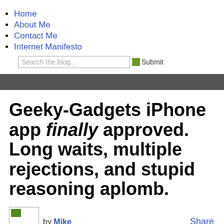Home
About Me
Contact Me
Internet Manifesto
Geeky-Gadgets iPhone app finally approved. Long waits, multiple rejections, and stupid reasoning aplomb.
by Mike
Posted December 30th, 2009 at 1:53 pm
Share